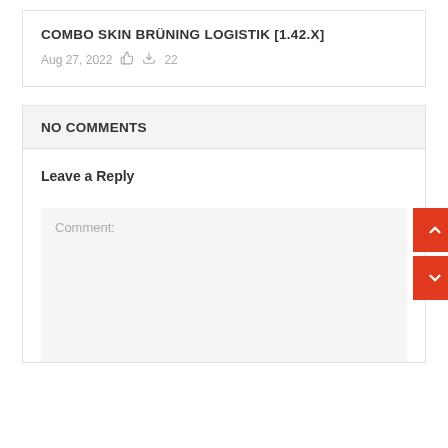COMBO SKIN BRÜNING LOGISTIK [1.42.X]
Aug 27, 2022   22
NO COMMENTS
Leave a Reply
Comment: